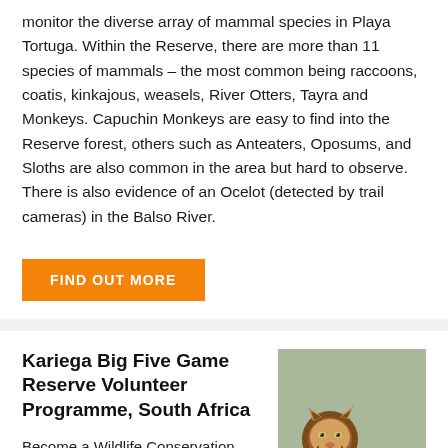monitor the diverse array of mammal species in Playa Tortuga. Within the Reserve, there are more than 11 species of mammals – the most common being raccoons, coatis, kinkajous, weasels, River Otters, Tayra and Monkeys. Capuchin Monkeys are easy to find into the Reserve forest, others such as Anteaters, Oposums, and Sloths are also common in the area but hard to observe. There is also evidence of an Ocelot (detected by trail cameras) in the Balso River.
FIND OUT MORE
Kariega Big Five Game Reserve Volunteer Programme, South Africa
Become a Wildlife Conservation Volunteer in a Big Five Game Reserve in South Africa, and get involved in elephant, rhino and lion monitoring programmes.
[Figure (photo): A male lion resting in grass, looking to the right, in a savanna setting.]